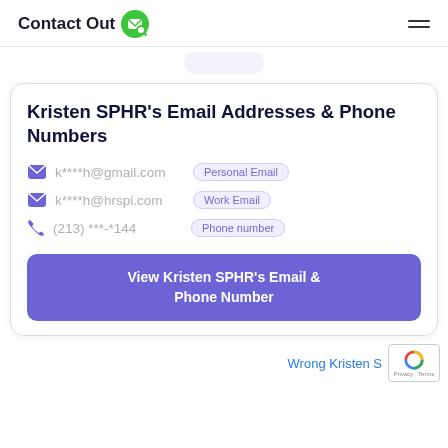ContactOut
Kristen SPHR's Email Addresses & Phone Numbers
k****h@gmail.com - Personal Email
k****h@hrspi.com - Work Email
(213) ***-*144 - Phone number
View Kristen SPHR's Email & Phone Number
Wrong Kristen S